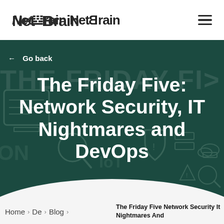NetBrain
← Go back
The Friday Five: Network Security, IT Nightmares and DevOps
Home > De > Blog >
The Friday Five Network Security It Nightmares And